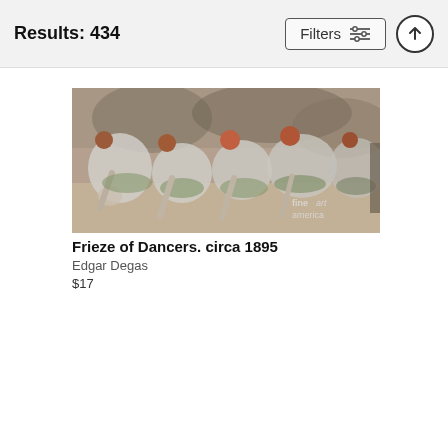Results: 434
Edgar Degas
$17
Edgar Degas
$17
[Figure (photo): A wide horizontal painting of ballerinas bending down to adjust their shoes/slippers, wearing white and green tutus, with a 'fine art america' watermark in the lower right. Painting: Frieze of Dancers, circa 1895 by Edgar Degas.]
Frieze of Dancers. circa 1895
Edgar Degas
$17